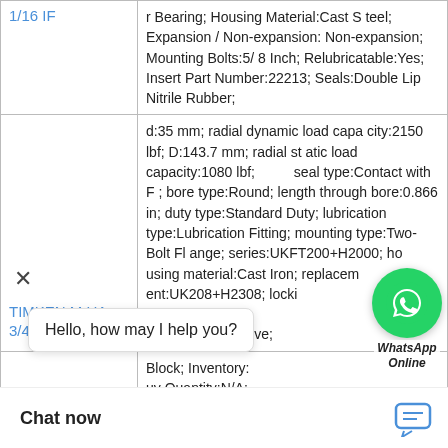| Product | Specifications |
| --- | --- |
| 1/16 IF | r Bearing; Housing Material:Cast Steel; Expansion / Non-expansion:Non-expansion; Mounting Bolts:5/8 Inch; Relubricatable:Yes; Insert Part Number:22213; Seals:Double Lip Nitrile Rubber; |
| TIMKEN MUA 3/4 | d:35 mm; radial dynamic load capacity:2150 lbf; D:143.7 mm; radial static load capacity:1080 lbf; [B mm]; seal type:Contact with F[...]; bore type:Round; length through bore:0.866 in; duty type:Standard Duty; lubrication type:Lubrication Fitting; mounting type:Two-Bolt Flange; series:UKFT200+H2000; housing material:Cast Iron; replacement:UK208+H2308; locking:Adapter Sleeve; |
|  | Block; Inventory: Buy Quantity:N/A; |
[Figure (illustration): WhatsApp Online chat button overlay with green WhatsApp icon and italic bold label 'WhatsApp Online']
Hello, how may I help you?
Chat now